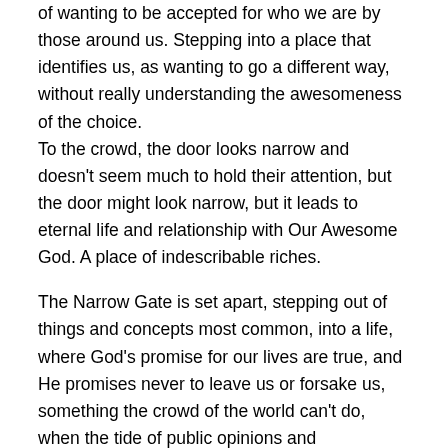of wanting to be accepted for who we are by those around us. Stepping into a place that identifies us, as wanting to go a different way, without really understanding the awesomeness of the choice. To the crowd, the door looks narrow and doesn't seem much to hold their attention, but the door might look narrow, but it leads to eternal life and relationship with Our Awesome God. A place of indescribable riches.
The Narrow Gate is set apart, stepping out of things and concepts most common, into a life, where God's promise for our lives are true, and He promises never to leave us or forsake us, something the crowd of the world can't do, when the tide of public opinions and philosophies keeps turning.
The Narrow Gate represents , stepping into His Kingdom,